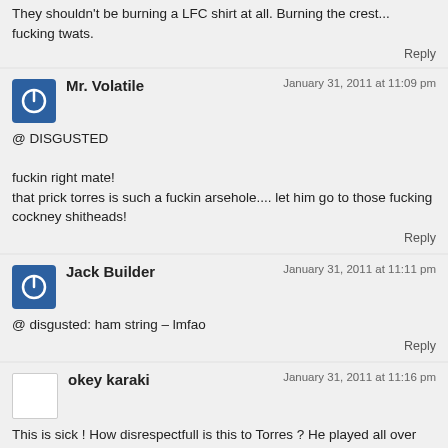They shouldn't be burning a LFC shirt at all. Burning the crest... fucking twats.
Reply
January 31, 2011 at 11:09 pm
Mr. Volatile
@ DISGUSTED

fuckin right mate!
that prick torres is such a fuckin arsehole.... let him go to those fucking cockney shitheads!
Reply
January 31, 2011 at 11:11 pm
Jack Builder
@ disgusted: ham string – lmfao
Reply
January 31, 2011 at 11:16 pm
okey karaki
This is sick ! How disrespectfull is this to Torres ? He played all over the years such a good football and that´s the THANK YOU ??
Reply